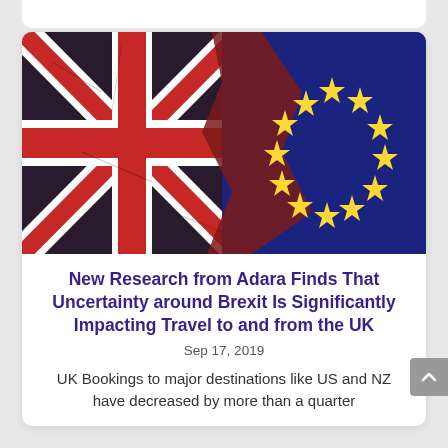[Figure (photo): A dramatic image showing the UK Union Jack flag and the EU flag of stars on a dark blue background, appearing to be cracked or torn apart, symbolizing Brexit.]
New Research from Adara Finds That Uncertainty around Brexit Is Significantly Impacting Travel to and from the UK
Sep 17, 2019
UK Bookings to major destinations like US and NZ have decreased by more than a quarter